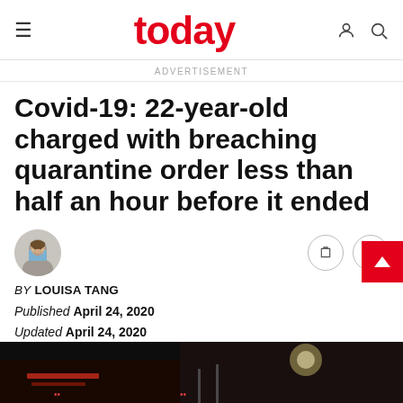today
ADVERTISEMENT
Covid-19: 22-year-old charged with breaching quarantine order less than half an hour before it ended
BY LOUISA TANG
Published April 24, 2020
Updated April 24, 2020
[Figure (photo): Dark nighttime photo at bottom of article]